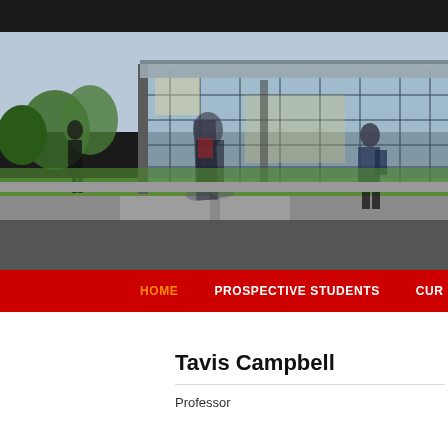[Figure (photo): University campus photo showing students walking and cycling in front of a modern glass building. Motion blur on foreground cyclist. Top black bar visible.]
HOME   PROSPECTIVE STUDENTS   CUR...
Tavis Campbell
Professor